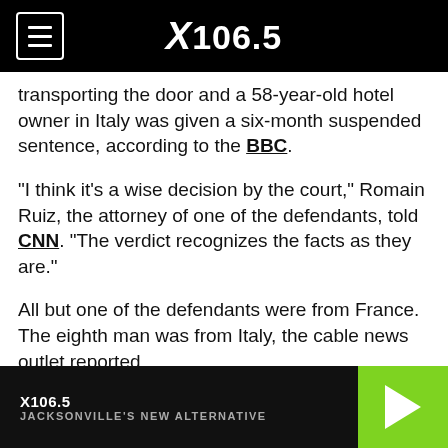X106.5
transporting the door and a 58-year-old hotel owner in Italy was given a six-month suspended sentence, according to the BBC.
“I think it’s a wise decision by the court,” Romain Ruiz, the attorney of one of the defendants, told CNN. “The verdict recognizes the facts as they are.”
All but one of the defendants were from France. The eighth man was from Italy, the cable news outlet reported.
The mural was painted on a door that leads into an alley used as an escape route by spectators who had been
X106.5 JACKSONVILLE'S NEW ALTERNATIVE